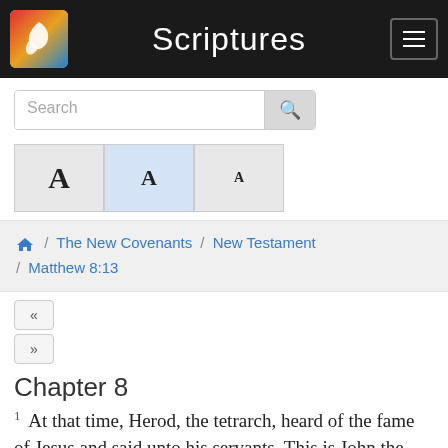Scriptures
Search
[Figure (other): Three font size selector buttons labeled A (large), A (medium, highlighted blue), A (small)]
/ The New Covenants / New Testament / Matthew 8:13
« »
Chapter 8
1  At that time, Herod, the tetrarch, heard of the fame of Jesus and said unto his servants, This is John the Baptist; he is risen from the dead, and